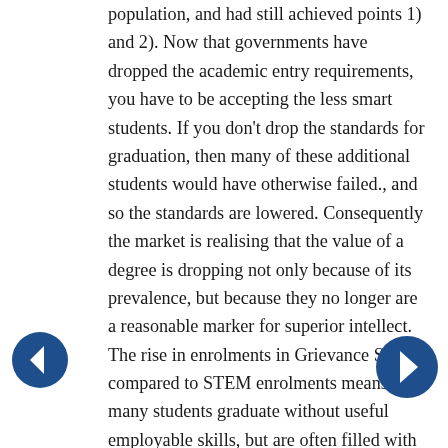population, and had still achieved points 1) and 2). Now that governments have dropped the academic entry requirements, you have to be accepting the less smart students. If you don't drop the standards for graduation, then many of these additional students would have otherwise failed., and so the standards are lowered. Consequently the market is realising that the value of a degree is dropping not only because of its prevalence, but because they no longer are a reasonable marker for superior intellect. The rise in enrolments in Grievance Studies compared to STEM enrolments means that many students graduate without useful employable skills, but are often filled with skills that make them less employable for private industry. The disillusionment that items 1) and 2) still hold is a big disappointment for those who have borrowed large amounts in the expectation of a fast repayment in a guaranteed good job.

So, here we are. Government are not going to stop this because of the outcry that would result if fewer students